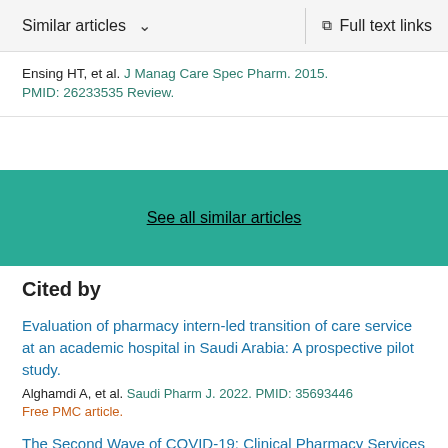Similar articles   Full text links
Ensing HT, et al. J Manag Care Spec Pharm. 2015.
PMID: 26233535 Review.
See all similar articles
Cited by
Evaluation of pharmacy intern-led transition of care service at an academic hospital in Saudi Arabia: A prospective pilot study.
Alghamdi A, et al. Saudi Pharm J. 2022. PMID: 35693446
Free PMC article.
The Second Wave of COVID-19: Clinical Pharmacy Services During a Field Hospital